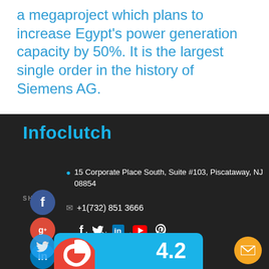a megaproject which plans to increase Egypt's power generation capacity by 50%. It is the largest single order in the history of Siemens AG.
[Figure (logo): InfoClutch logo in cyan/blue color on dark background]
15 Corporate Place South, Suite #103, Piscataway, NJ 08854
+1(732) 851 3666
sales@infoclutch.com
[Figure (infographic): Social media share buttons: Facebook, Google+, LinkedIn, Twitter on left side; row of small social icons (Facebook, Twitter, LinkedIn, YouTube, Pinterest); Google rating badge showing 4.2; orange mail bubble bottom right]